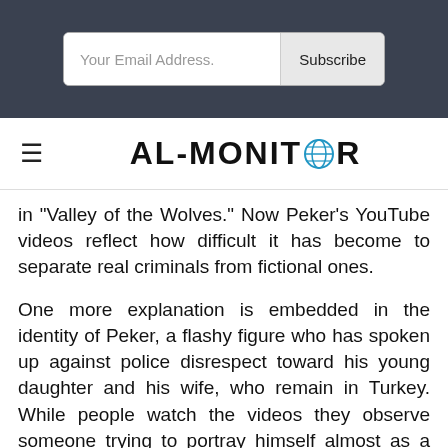[Figure (screenshot): Email subscription input box with 'Your Email Address.' placeholder text and a 'Subscribe' button, displayed on a dark gray/navy header bar]
[Figure (logo): AL-MONITOR logo with globe icon replacing the letter O, displayed in bold black on white background with hamburger menu icon on the left]
in "Valley of the Wolves." Now Peker's YouTube videos reflect how difficult it has become to separate real criminals from fictional ones.
One more explanation is embedded in the identity of Peker, a flashy figure who has spoken up against police disrespect toward his young daughter and his wife, who remain in Turkey. While people watch the videos they observe someone trying to portray himself almost as a patriotic Robin Hood, whose various services to his country have all been discarded